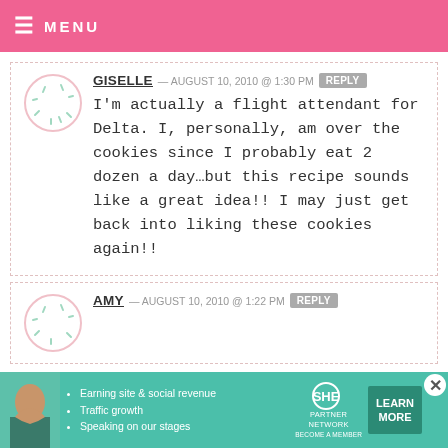MENU
GISELLE — AUGUST 10, 2010 @ 1:30 PM  REPLY
I'm actually a flight attendant for Delta. I, personally, am over the cookies since I probably eat 2 dozen a day...but this recipe sounds like a great idea!! I may just get back into liking these cookies again!!
AMY — AUGUST 10, 2010 @ 1:22 PM  REPLY
[Figure (infographic): Ad banner: SHE Partner Network — Earning site & social revenue, Traffic growth, Speaking on our stages. Learn More button.]